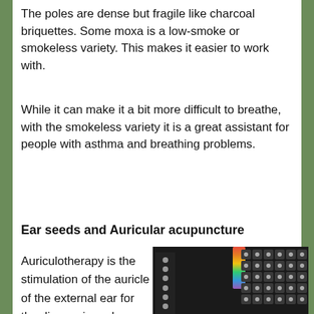The poles are dense but fragile like charcoal briquettes. Some moxa is a low-smoke or smokeless variety. This makes it easier to work with.
While it can make it a bit more difficult to breathe, with the smokeless variety it is a great assistant for people with asthma and breathing problems.
Ear seeds and Auricular acupuncture
Auriculotherapy is the stimulation of the auricle of the external ear for the diagnosis and treatment of
[Figure (photo): Photo of ear seeds and auricular acupuncture supplies including metallic seed pellets on adhesive strips and grid packaging with rainbow-colored packaging visible in the background.]